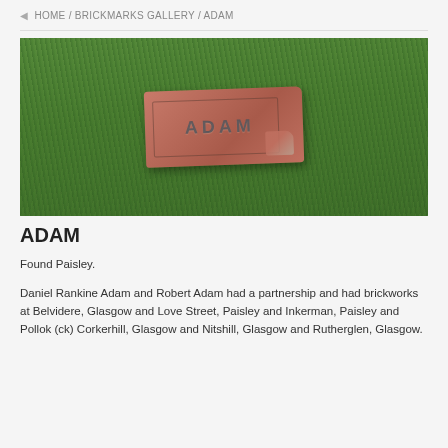HOME / BRICKMARKS GALLERY / ADAM
[Figure (photo): A red clay brick with the word ADAM impressed into a rectangular panel, photographed on green grass. The top-right corner of the brick is chipped away.]
ADAM
Found Paisley.
Daniel Rankine Adam and Robert Adam had a partnership and had brickworks at Belvidere, Glasgow and Love Street, Paisley and Inkerman, Paisley and Pollok (ck) Corkerhill, Glasgow and Nitshill, Glasgow and Rutherglen, Glasgow.